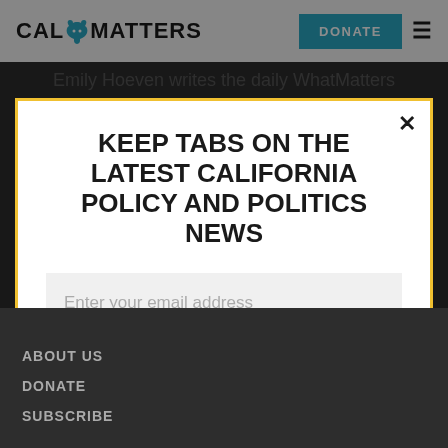[Figure (logo): CalMatters logo with bear icon and text CAL MATTERS]
DONATE
Emily Hoeven writes the daily WhatMatters
KEEP TABS ON THE LATEST CALIFORNIA POLICY AND POLITICS NEWS
Enter your email address
SUBSCRIBE
By clicking subscribe, you agree to share your email address with CalMatters to receive marketing, updates, and other emails.
ABOUT US
DONATE
SUBSCRIBE